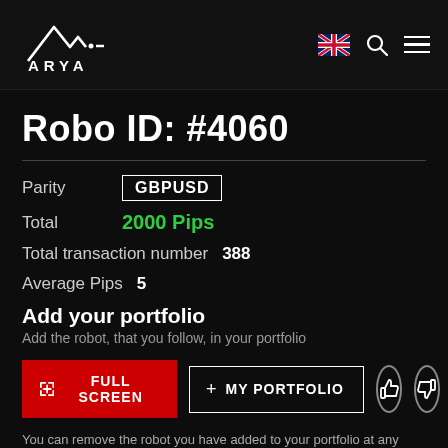ARYA
Robo ID: #4060
Parity   GBPUSD
Total   2000 Pips
Total transaction number   388
Average Pips   5
Add your portfolio
Add the robot, that you follow, in your portfolio
FULL SCREEN   + MY PORTFOLIO
You can remove the robot you have added to your portfolio at any time and add another robo advisor to your portfolio.